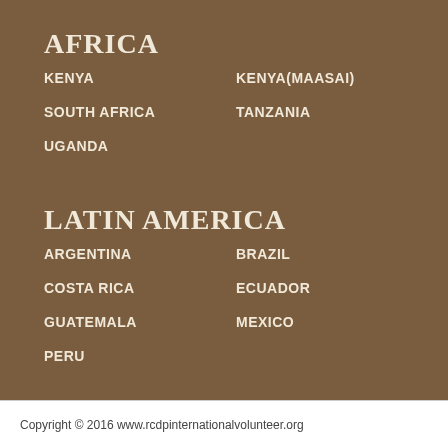AFRICA
KENYA
KENYA(MAASAI)
SOUTH AFRICA
TANZANIA
UGANDA
LATIN AMERICA
ARGENTINA
BRAZIL
COSTA RICA
ECUADOR
GUATEMALA
MEXICO
PERU
Copyright © 2016 www.rcdpinternationalvolunteer.org